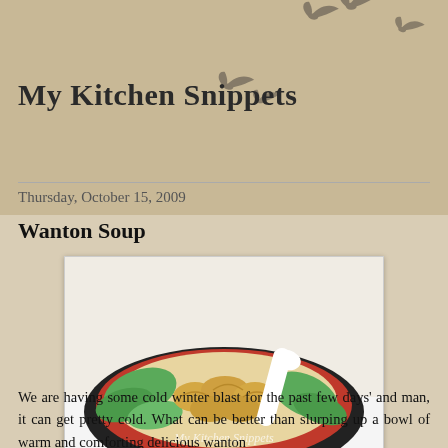My Kitchen Snippets
Thursday, October 15, 2009
Wanton Soup
[Figure (photo): A red and black bowl filled with wonton soup, containing golden wontons, bok choy, and clear broth, with a white ceramic spoon. Watermark reads 'My Kitchen Snippets'.]
We are having some cold winter blast for the past few days' and man, it can get pretty cold. What can be better than slurping up a bowl of warm and comforting delicious wanton